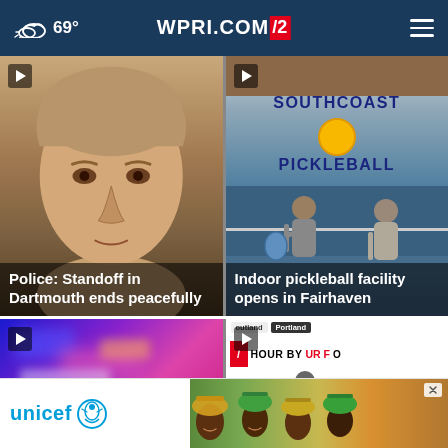69° WPRI.COM/2 ≡
[Figure (photo): Close-up photo of a young man's face (mugshot style), with white bold text overlay: 'Police: Standoff in Dartmouth ends peacefully']
[Figure (photo): Indoor pickleball facility with 'Southcoast Pickleball' text on wall, two players on court. Text overlay: 'Indoor pickleball facility opens in Fairhaven']
[Figure (photo): Police lights / blue and purple flashing lights photo thumbnail]
[Figure (screenshot): WPRI weather forecast card showing 'HOUR BY HOUR FO' with SUN 3:00 PM, location tags 'outland' and 'Portland', close button X]
[Figure (photo): UNICEF advertisement banner with unicef logo and photo of African children in colorful hats]